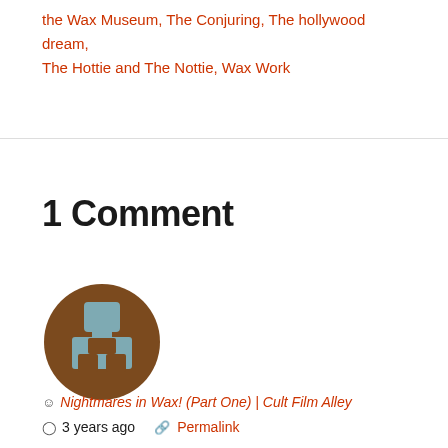the Wax Museum, The Conjuring, The hollywood dream, The Hottie and The Nottie, Wax Work
1 Comment
[Figure (illustration): Circular avatar icon with brown background and a stylized gray/teal figure/person graphic in the center]
Nightmares in Wax! (Part One) | Cult Film Alley
3 years ago   Permalink
[…] We will discuss the artistic merits of Nightmare in Wax and the remake of House of Wax featuring Paris Hilton in Part Two… […]